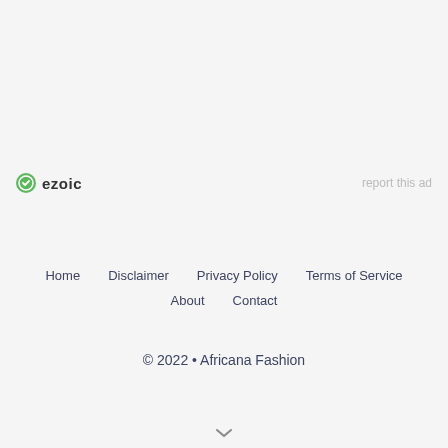[Figure (logo): Ezoic logo with green circular icon and bold 'ezoic' text, with 'report this ad' text on the right]
Home   Disclaimer   Privacy Policy   Terms of Service   About   Contact
© 2022 • Africana Fashion